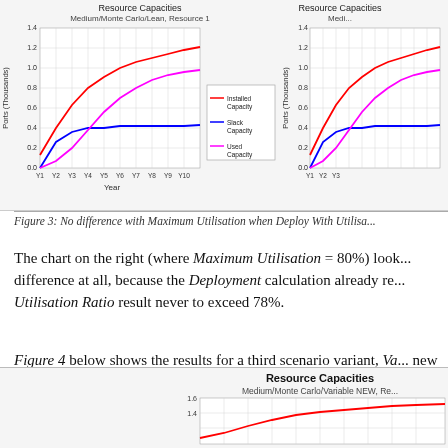[Figure (line-chart): Line chart showing Installed Capacity (red), Slack Capacity (blue), Used Capacity (pink/magenta) over Y1-Y10. Y-axis: Ports (Thousands) 0.0-1.4.]
[Figure (line-chart): Partial right-side line chart, same series, cut off at right edge.]
Figure 3: No difference with Maximum Utilisation when Deploy With Utilisa...
The chart on the right (where Maximum Utilisation = 80%) look... difference at all, because the Deployment calculation already re... Utilisation Ratio result never to exceed 78%.
Figure 4 below shows the results for a third scenario variant, Va... new input Deploy With Utilisation = Yes.
[Figure (line-chart): Bottom partial line chart showing Resource Capacities with Installed Capacity (red line rising). Y-axis up to 1.6.]